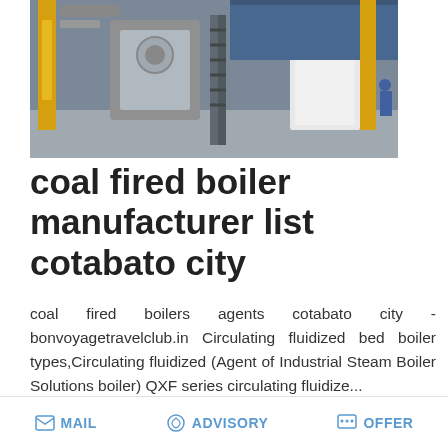[Figure (photo): Industrial boiler equipment in a factory setting, showing machinery with yellow pipes/columns, metal stairs/ladders, and warehouse interior]
coal fired boiler manufacturer list cotabato city
coal fired boilers agents cotabato city - bonvoyagetravelclub.in Circulating fluidized bed boiler types,Circulating fluidized (Agent of Industrial Steam Boiler Solutions boiler) QXF series circulating fluidize...
[Figure (screenshot): Save Stickers on WhatsApp banner with WhatsApp and emoji icons, gradient purple-pink background]
[Figure (photo): Industrial equipment/piping structure photo at bottom of page]
MAIL   ADVISORY   OFFER